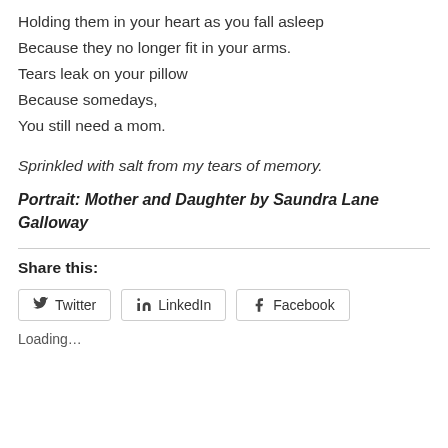Holding them in your heart as you fall asleep
Because they no longer fit in your arms.
Tears leak on your pillow
Because somedays,
You still need a mom.
Sprinkled with salt from my tears of memory.
Portrait: Mother and Daughter by Saundra Lane Galloway
Share this:
Twitter
LinkedIn
Facebook
Loading…